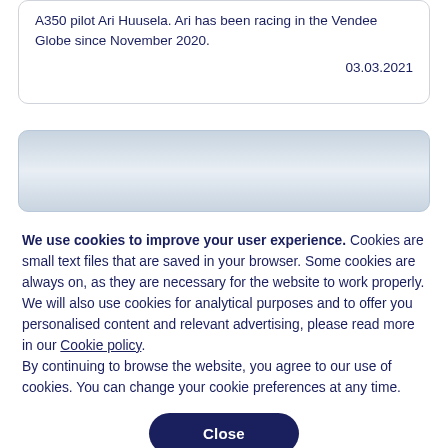A350 pilot Ari Huusela. Ari has been racing in the Vendee Globe since November 2020.
03.03.2021
[Figure (other): Blurred/gradient card with blue-grey gradient background, partially visible]
We use cookies to improve your user experience. Cookies are small text files that are saved in your browser. Some cookies are always on, as they are necessary for the website to work properly. We will also use cookies for analytical purposes and to offer you personalised content and relevant advertising, please read more in our Cookie policy.
By continuing to browse the website, you agree to our use of cookies. You can change your cookie preferences at any time.
Close
Set your cookie preferences